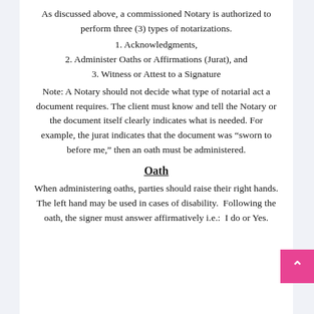As discussed above, a commissioned Notary is authorized to perform three (3) types of notarizations.
1. Acknowledgments,
2. Administer Oaths or Affirmations (Jurat), and
3. Witness or Attest to a Signature
Note: A Notary should not decide what type of notarial act a document requires. The client must know and tell the Notary or the document itself clearly indicates what is needed. For example, the jurat indicates that the document was “sworn to before me,” then an oath must be administered.
Oath
When administering oaths, parties should raise their right hands. The left hand may be used in cases of disability.  Following the oath, the signer must answer affirmatively i.e.:  I do or Yes.